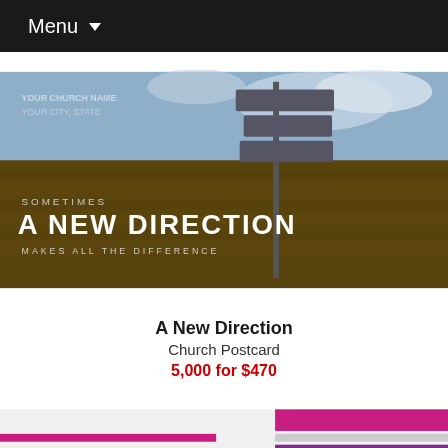Menu
[Figure (photo): Church postcard image showing a signpost in a field with text 'SOMETIMES A NEW DIRECTION MAKES ALL THE DIFFERENCE']
A New Direction
Church Postcard
5,000 for $470
[Figure (photo): Second church postcard design with purple/magenta stripes and text 'A NEW KIND OF CHURCH YOUR CHURCH NAME 08.07.15']